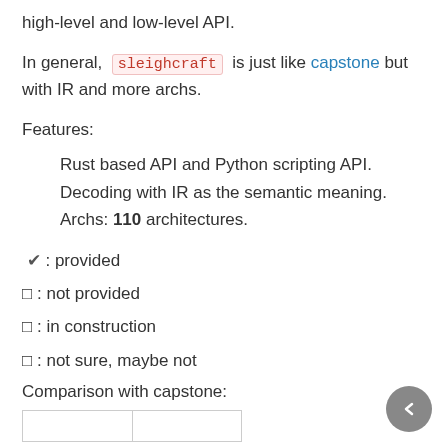high-level and low-level API.
In general, sleighcraft is just like capstone but with IR and more archs.
Features:
Rust based API and Python scripting API.
Decoding with IR as the semantic meaning.
Archs: 110 architectures.
✔ : provided
🞩 : not provided
🞩 : in construction
🞩 : not sure, maybe not
Comparison with capstone: